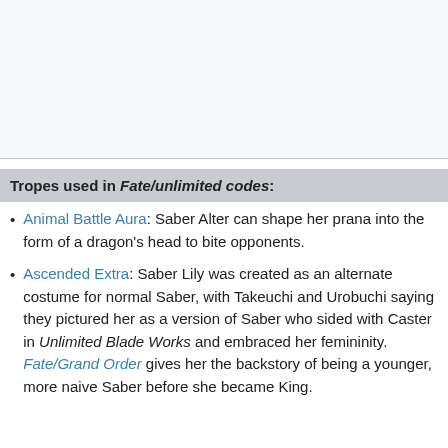Tropes used in Fate/unlimited codes:
Animal Battle Aura: Saber Alter can shape her prana into the form of a dragon's head to bite opponents.
Ascended Extra: Saber Lily was created as an alternate costume for normal Saber, with Takeuchi and Urobuchi saying they pictured her as a version of Saber who sided with Caster in Unlimited Blade Works and embraced her femininity. Fate/Grand Order gives her the backstory of being a younger, more naive Saber before she became King.